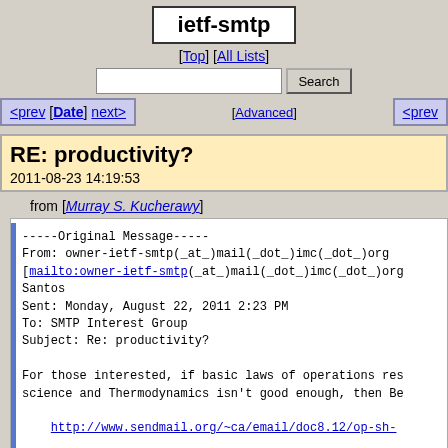ietf-smtp
[Top] [All Lists]
<prev [Date] next>  [Advanced]  <prev
RE: productivity?
2011-08-23 14:19:53
from [Murray S. Kucherawy]
-----Original Message-----
From: owner-ietf-smtp(_at_)mail(_dot_)imc(_dot_)org
[mailto:owner-ietf-smtp(_at_)mail(_dot_)imc(_dot_)org
Santos
Sent: Monday, August 22, 2011 2:23 PM
To: SMTP Interest Group
Subject: Re: productivity?

For those interested, if basic laws of operations res
science and Thermodynamics isn't good enough, then Be

http://www.sendmail.org/~ca/email/doc8.12/op-sh-

    The ConnectionCacheTimeout ( K) option specifies
    that any cached connection will be permitted to
    time exceeds this value the connection is closed